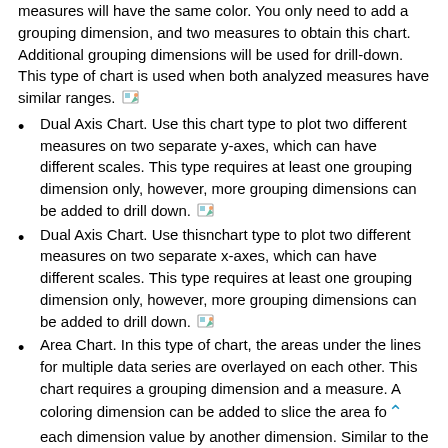measures will have the same color. You only need to add a grouping dimension, and two measures to obtain this chart. Additional grouping dimensions will be used for drill-down. This type of chart is used when both analyzed measures have similar ranges.
Dual Axis Chart. Use this chart type to plot two different measures on two separate y-axes, which can have different scales. This type requires at least one grouping dimension only, however, more grouping dimensions can be added to drill down.
Dual Axis Chart. Use thisnchart type to plot two different measures on two separate x-axes, which can have different scales. This type requires at least one grouping dimension only, however, more grouping dimensions can be added to drill down.
Area Chart. In this type of chart, the areas under the lines for multiple data series are overlayed on each other. This chart requires a grouping dimension and a measure. A coloring dimension can be added to slice the area for each dimension value by another dimension. Similar to the Stacked-Column Chart, you can choose to stack two measures, but then you cannot add a coloring dimension in